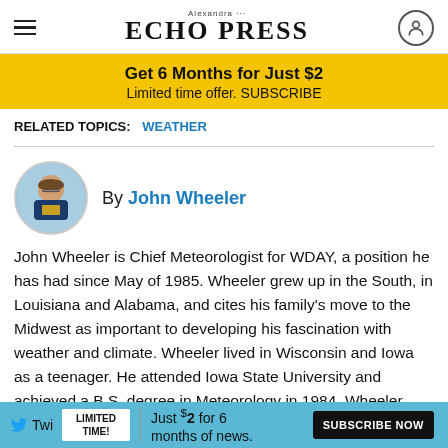Alexandra Echo Press
Get 6 Months for Just $2 Limited time offer. SUBSCRIBE
RELATED TOPICS: WEATHER
[Figure (photo): Circular headshot of John Wheeler, a man wearing glasses and a suit]
By John Wheeler
John Wheeler is Chief Meteorologist for WDAY, a position he has had since May of 1985. Wheeler grew up in the South, in Louisiana and Alabama, and cites his family's move to the Midwest as important to developing his fascination with weather and climate. Wheeler lived in Wisconsin and Iowa as a teenager. He attended Iowa State University and achieved a B.S. degree in Meteorology in 1984. Wheeler worked about a year at WOI-TV in central Iowa before moving to Fargo and WDAY..
LIMITED TIME! Just $2 for 6 months of news. SUBSCRIBE NOW